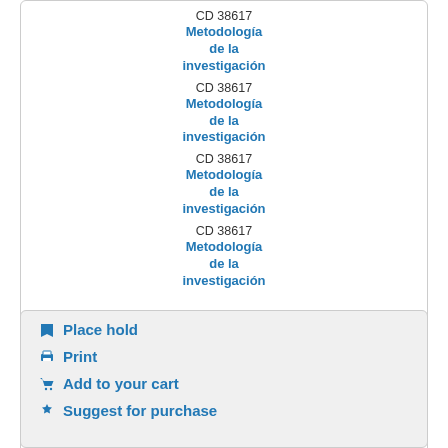CD 38617 Metodología de la investigación
CD 38617 Metodología de la investigación
CD 38617 Metodología de la investigación
CD 38617 Metodología de la investigación
🔖 Place hold
🖨 Print
🛒 Add to your cart
🎁 Suggest for purchase